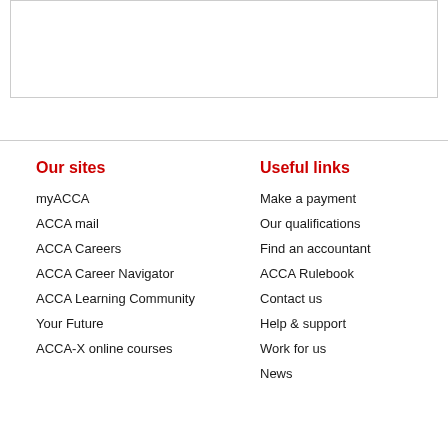[Figure (other): Empty white box with border at top of page]
Our sites
myACCA
ACCA mail
ACCA Careers
ACCA Career Navigator
ACCA Learning Community
Your Future
ACCA-X online courses
Useful links
Make a payment
Our qualifications
Find an accountant
ACCA Rulebook
Contact us
Help & support
Work for us
News